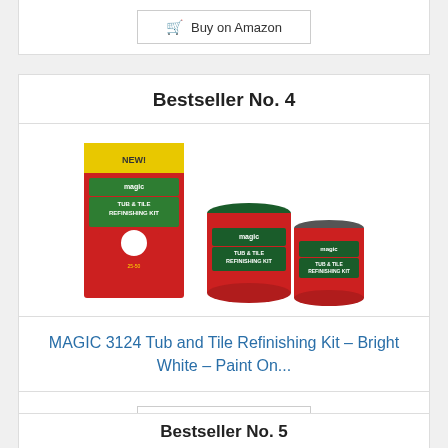Buy on Amazon
Bestseller No. 4
[Figure (photo): Magic 3124 Tub and Tile Refinishing Kit product photo showing the box and two cans (one medium, one small) with red and green labels.]
MAGIC 3124 Tub and Tile Refinishing Kit - Bright White - Paint On...
Buy on Amazon
Bestseller No. 5